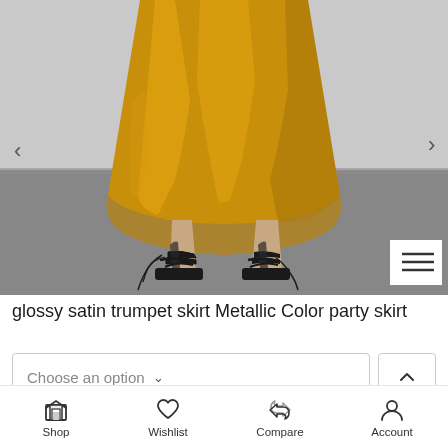[Figure (photo): A model wearing a glossy golden/mustard satin trumpet midi skirt with black strappy lace-up flat sandals. The lower body is shown from waist down. Background is a light grey studio setting with darker grey floor.]
glossy satin trumpet skirt Metallic Color party skirt
Choose an option
Shop  Wishlist  Compare  Account